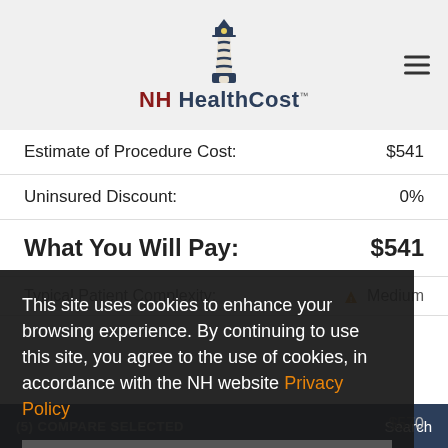NH HealthCost
| Item | Value |
| --- | --- |
| Estimate of Procedure Cost: | $541 |
| Uninsured Discount: | 0% |
| What You Will Pay: | $541 |
| Typical Patient Complexity: | Medium |
This site uses cookies to enhance your browsing experience. By continuing to use this site, you agree to the use of cookies, in accordance with the NH website Privacy Policy
OK ✓
(5) COMPARE SELECTED    Search